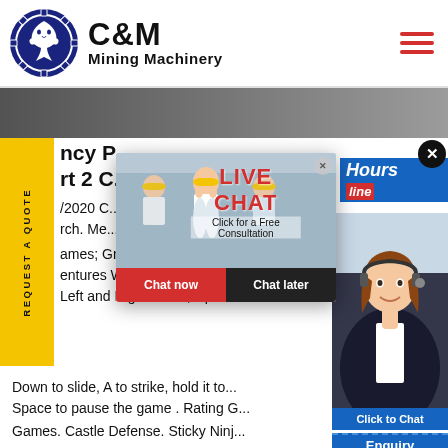[Figure (logo): C&M Mining Machinery logo with eagle gear icon in dark blue circle and bold C&M text]
[Figure (screenshot): Website screenshot showing C&M Mining Machinery page with live chat popup overlay, yellow REQUEST A QUOTE sidebar, partial article text about Fancy Pants Adventure games, and right-side chat agent photo with Click to Chat button]
ncy P... rt 2 C...
/2020 C...
rch. Me...
ames; Grow Games; Submit Gam...
entures World 4: Part 2. Full Scr...
Left and Right to run, Up to inte...
Down to slide, A to strike, hold it to...
Space to pause the game . Rating G...
Games. Castle Defense. Sticky Ninj...
LIVE CHAT
Click for a Free Consultation
Chat now
Chat later
Hours
line
Click to Chat
Enquiry
REQUEST A QUOTE